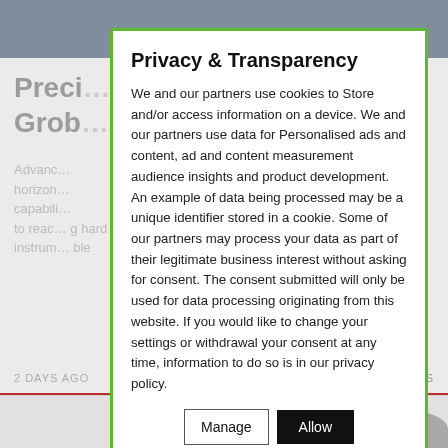[Figure (screenshot): Background website content showing a partially visible article with gray text and a photo strip at the top, partially obscured by a privacy modal dialog.]
Privacy & Transparency
We and our partners use cookies to Store and/or access information on a device. We and our partners use data for Personalised ads and content, ad and content measurement audience insights and product development. An example of data being processed may be a unique identifier stored in a cookie. Some of our partners may process your data as part of their legitimate business interest without asking for consent. The consent submitted will only be used for data processing originating from this website. If you would like to change your settings or withdrawal your consent at any time, information to do so is in our privacy policy.
Manage
Allow